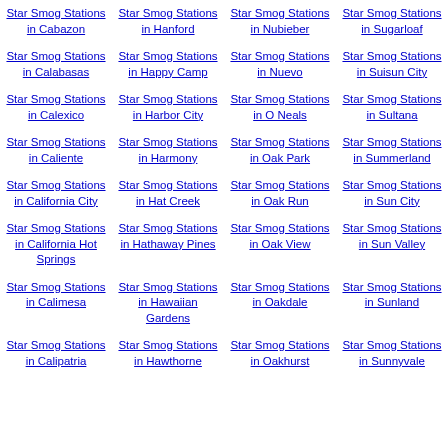Star Smog Stations in Cabazon
Star Smog Stations in Hanford
Star Smog Stations in Nubieber
Star Smog Stations in Sugarloaf
Star Smog Stations in Calabasas
Star Smog Stations in Happy Camp
Star Smog Stations in Nuevo
Star Smog Stations in Suisun City
Star Smog Stations in Calexico
Star Smog Stations in Harbor City
Star Smog Stations in O Neals
Star Smog Stations in Sultana
Star Smog Stations in Caliente
Star Smog Stations in Harmony
Star Smog Stations in Oak Park
Star Smog Stations in Summerland
Star Smog Stations in California City
Star Smog Stations in Hat Creek
Star Smog Stations in Oak Run
Star Smog Stations in Sun City
Star Smog Stations in California Hot Springs
Star Smog Stations in Hathaway Pines
Star Smog Stations in Oak View
Star Smog Stations in Sun Valley
Star Smog Stations in Calimesa
Star Smog Stations in Hawaiian Gardens
Star Smog Stations in Oakdale
Star Smog Stations in Sunland
Star Smog Stations in Calipatria
Star Smog Stations in Hawthorne
Star Smog Stations in Oakhurst
Star Smog Stations in Sunnyvale